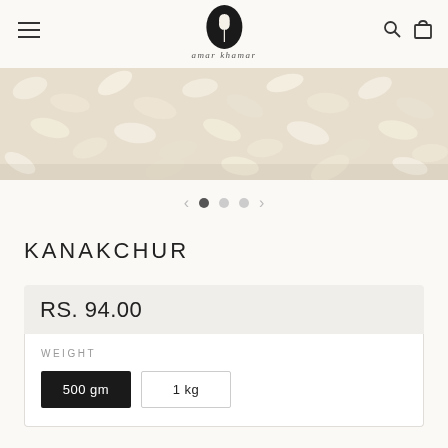[Figure (logo): Amar Khamar brand logo — black oval with wheat/grain illustration and text 'amar khamar' below]
[Figure (photo): Close-up photo of white/cream short-grain rice (Kanakchur variety) filling the frame]
< • • • >
KANAKCHUR
RS. 94.00
WEIGHT
500 gm
1 kg